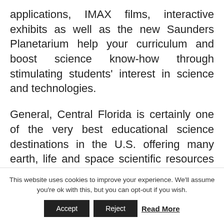applications, IMAX films, interactive exhibits as well as the new Saunders Planetarium help your curriculum and boost science know-how through stimulating students' interest in science and technologies.
General, Central Florida is certainly one of the very best educational science destinations in the U.S. offering many earth, life and space scientific resources to science groups. Couple that with some fun at the theme parks, you as the t...
This website uses cookies to improve your experience. We'll assume you're ok with this, but you can opt-out if you wish.